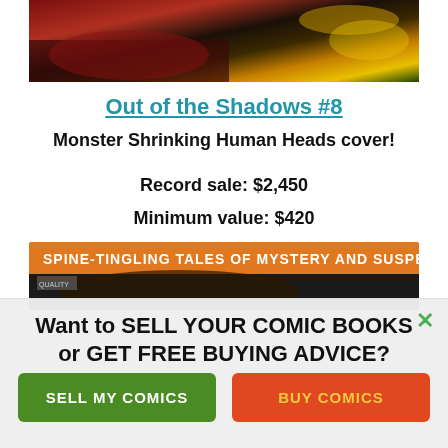[Figure (photo): Top portion of comic book cover showing dramatic illustrated art with dark and fiery tones]
Out of the Shadows #8
Monster Shrinking Human Heads cover!
Record sale: $2,450
Minimum value: $420
[Figure (photo): Comic book banner strip showing orange background with text SPINE-TINGLING TALES OF MYSTERY AND SUSPENSE and dark illustrated bottom portion]
Want to SELL YOUR COMIC BOOKS or GET FREE BUYING ADVICE?
SELL MY COMICS
BUY COMICS